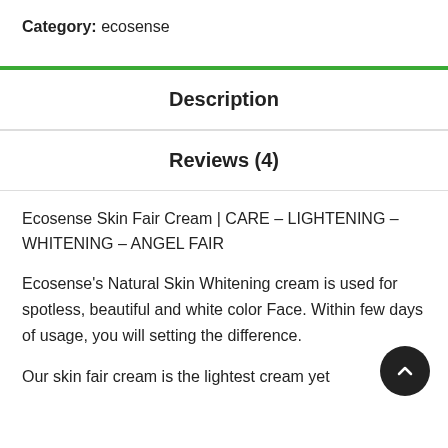Category: ecosense
Description
Reviews (4)
Ecosense Skin Fair Cream | CARE – LIGHTENING – WHITENING – ANGEL FAIR
Ecosense's Natural Skin Whitening cream is used for spotless, beautiful and white color Face. Within few days of usage, you will setting the difference.
Our skin fair cream is the lightest cream yet